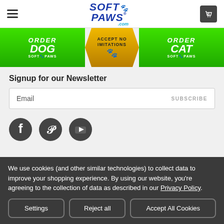Soft Paws .com - navigation header with hamburger menu and cart icon
[Figure (illustration): Green banner with ORDER DOG SOFT PAWS on left, ACCEPT NO IMITATIONS gold shield in center, ORDER CAT SOFT PAWS on right]
Signup for our Newsletter
Email                    SUBSCRIBE
[Figure (illustration): Social media icons: Facebook, Pinterest, YouTube (dark circular icons)]
We use cookies (and other similar technologies) to collect data to improve your shopping experience. By using our website, you're agreeing to the collection of data as described in our Privacy Policy.
Settings   Reject all   Accept All Cookies